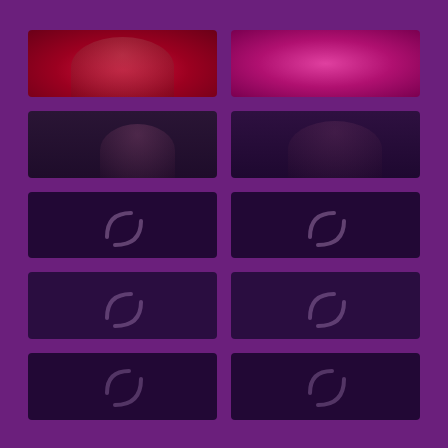[Figure (photo): Grid of thumbnail images on purple background. Top row: two photos of people. Middle two rows: dark purple loading placeholders with spinner arc icons. Bottom row: partially visible loading placeholders.]
[Figure (photo): Top-left thumbnail: person against red rose background]
[Figure (photo): Top-right thumbnail: person against pink/magenta background]
[Figure (photo): Second row left: dark photo of person in dimly lit room]
[Figure (photo): Second row right: dark photo of person in dimly lit room]
[Figure (other): Loading placeholder with spinner arc, dark purple]
[Figure (other): Loading placeholder with spinner arc, dark purple]
[Figure (other): Loading placeholder with spinner arc, dark purple]
[Figure (other): Loading placeholder with spinner arc, dark purple]
[Figure (other): Loading placeholder with spinner arc, dark purple (partially visible)]
[Figure (other): Loading placeholder with spinner arc, dark purple (partially visible)]